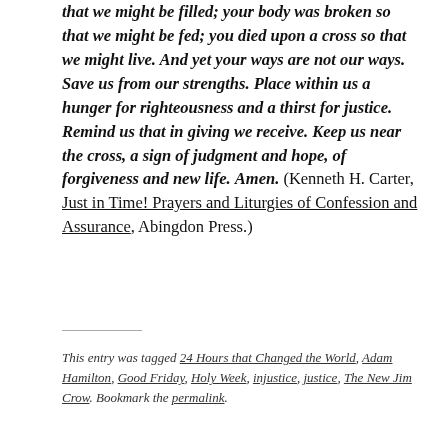that we might be filled; your body was broken so that we might be fed; you died upon a cross so that we might live. And yet your ways are not our ways. Save us from our strengths. Place within us a hunger for righteousness and a thirst for justice. Remind us that in giving we receive. Keep us near the cross, a sign of judgment and hope, of forgiveness and new life. Amen. (Kenneth H. Carter, Just in Time! Prayers and Liturgies of Confession and Assurance, Abingdon Press.)
This entry was tagged 24 Hours that Changed the World, Adam Hamilton, Good Friday, Holy Week, injustice, justice, The New Jim Crow. Bookmark the permalink.